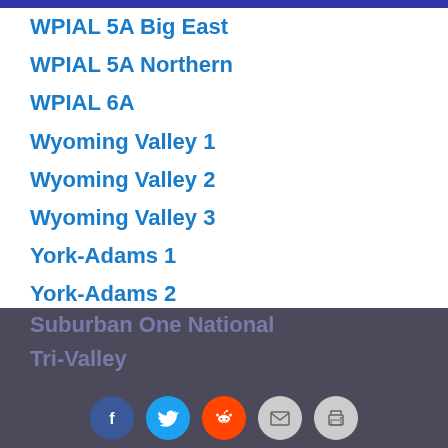WPIAL 5A Big East
WPIAL 5A Northern
WPIAL 6A
Wyoming Valley 1
Wyoming Valley 2
Wyoming Valley 3
York-Adams 1
York-Adams 2
York-Adams 3
Suburban One American
Suburban One Continental
Suburban One National
Tri-Valley